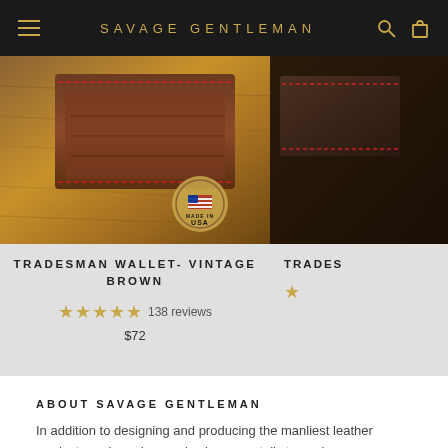SAVAGE GENTLEMAN
[Figure (photo): Tradesman Wallet in Vintage Brown leather on a wooden surface with red stitching and Made in USA seal]
TRADESMAN WALLET- VINTAGE BROWN
138 reviews · $72
[Figure (photo): Partial view of another Tradesman wallet product on dark background with red stitching]
ABOUT SAVAGE GENTLEMAN
In addition to designing and producing the manliest leather products and goods, we also have a retail store where you can check us out in person at historic Trolley Square in Salt Lake City, Utah.